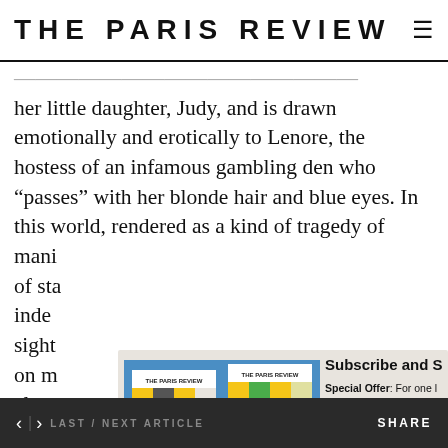THE PARIS REVIEW
her little daughter, Judy, and is drawn emotionally and erotically to Lenore, the hostess of an infamous gambling den who “passes” with her blonde hair and blue eyes. In this world, rendered as a kind of tragedy of manners...of sta...inde...sight...on m...clear...simil...“Wh...
[Figure (photo): Two copies of The Paris Review magazine covers showing colorful grid/block artwork on blue background]
Subscribe and S
Special Offer: For one l... subscription to The Paris... issue no. 240 poster!
Subscribe No
Of all the romantic relationships depicted, only Cleo’s
< > LAST / NEXT ARTICLE    SHARE